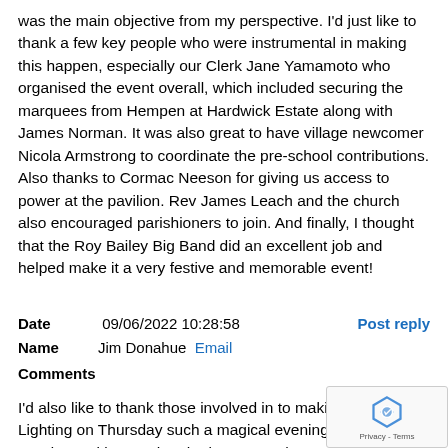was the main objective from my perspective. I'd just like to thank a few key people who were instrumental in making this happen, especially our Clerk Jane Yamamoto who organised the event overall, which included securing the marquees from Hempen at Hardwick Estate along with James Norman. It was also great to have village newcomer Nicola Armstrong to coordinate the pre-school contributions. Also thanks to Cormac Neeson for giving us access to power at the pavilion. Rev James Leach and the church also encouraged parishioners to join. And finally, I thought that the Roy Bailey Big Band did an excellent job and helped make it a very festive and memorable event!
Date  09/06/2022 10:28:58   Post reply
Name  Jim Donahue  Email
Comments
I'd also like to thank those involved in to making Beacon Lighting on Thursday such a magical evening. This includes Sandra Parkinson who the beacon on her property and helped build it along